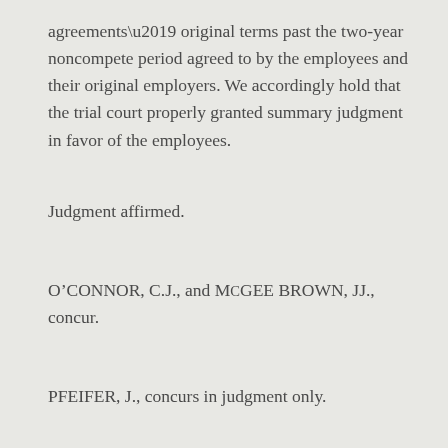agreements’ original terms past the two-year noncompete period agreed to by the employees and their original employers. We accordingly hold that the trial court properly granted summary judgment in favor of the employees.
Judgment affirmed.
O’CONNOR, C.J., and McGEE BROWN, JJ., concur.
PFEIFER, J., concurs in judgment only.